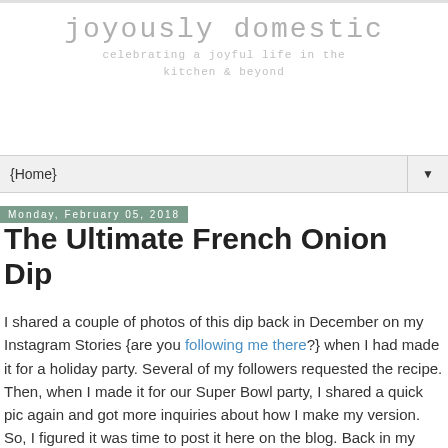joyously domestic
celebrating a joyful life in the kitchen & beyond
{Home}
Monday, February 05, 2018
The Ultimate French Onion Dip
I shared a couple of photos of this dip back in December on my Instagram Stories {are you following me there?} when I had made it for a holiday party. Several of my followers requested the recipe. Then, when I made it for our Super Bowl party, I shared a quick pic again and got more inquiries about how I make my version. So, I figured it was time to post it here on the blog. Back in my early adulthood, French